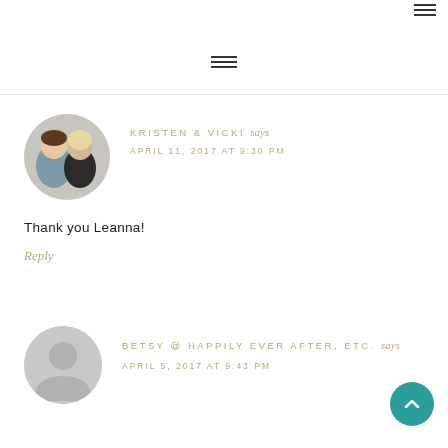[Figure (screenshot): Hamburger menu icon top right]
[Figure (screenshot): Hamburger menu icon center top]
[Figure (photo): Circular avatar photo of two women - Kristen and Vicki]
KRISTEN & VICKI says
APRIL 11, 2017 AT 9:30 PM
Thank you Leanna!
Reply
[Figure (illustration): Gray default avatar silhouette for Betsy]
BETSY @ HAPPILY EVER AFTER, ETC. says
APRIL 5, 2017 AT 9:43 PM